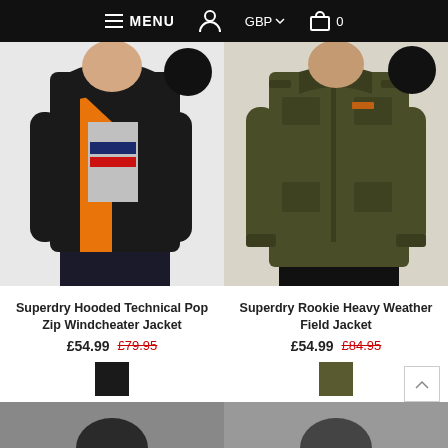MENU  GBP  0
[Figure (photo): Superdry Hooded Technical Pop Zip Windcheater Jacket - black jacket with orange lining, model wearing it open]
[Figure (photo): Superdry Rookie Heavy Weather Field Jacket - olive/dark green military style jacket on model]
Superdry Hooded Technical Pop Zip Windcheater Jacket
£54.99  £79.95
Superdry Rookie Heavy Weather Field Jacket
£54.99  £84.95
[Figure (photo): Bottom row of jackets, partially visible]
[Figure (photo): Bottom row of jackets, partially visible]